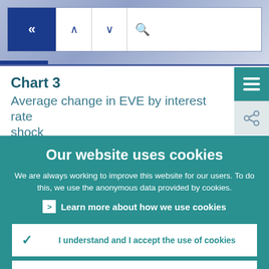[Figure (screenshot): Navigation bar with back button (<<), up/down arrows, search icon, and search box]
Chart 3
Average change in EVE by interest rate shock
[Figure (screenshot): Side icons: teal menu (hamburger) and share icon]
Our website uses cookies
We are always working to improve this website for our users. To do this, we use the anonymous data provided by cookies.
Learn more about how we use cookies
I understand and I accept the use of cookies
I do not accept the use of cookies